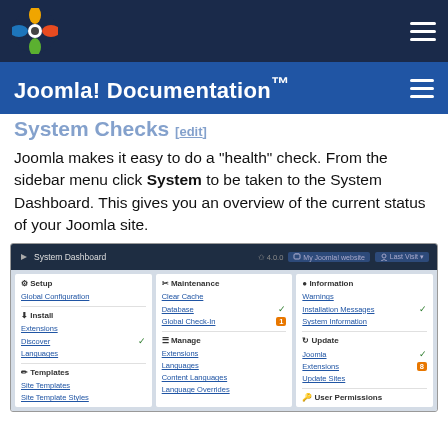[Figure (logo): Joomla logo in top navigation bar]
Joomla! Documentation™
System Checks [edit]
Joomla makes it easy to do a "health" check. From the sidebar menu click System to be taken to the System Dashboard. This gives you an overview of the current status of your Joomla site.
[Figure (screenshot): Joomla System Dashboard screenshot showing Setup, Install, Templates columns on left; Maintenance (Clear Cache, Database, Global Check-In) and Manage (Extensions, Languages, Content Languages, Language Overrides) in center; Information (Warnings, Installation Messages, System Information) and Update (Joomla, Extensions, Update Sites) and User Permissions on right.]